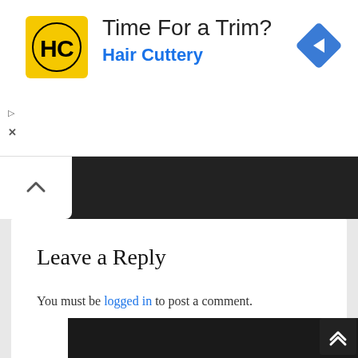[Figure (screenshot): Advertisement banner for Hair Cuttery with yellow logo, 'Time For a Trim?' headline, 'Hair Cuttery' subtitle in blue, and a blue diamond navigation icon on the right.]
[Figure (screenshot): Dark navigation bar with white up-chevron tab on the left.]
Leave a Reply
You must be logged in to post a comment.
[Figure (screenshot): Black footer/widget area at the bottom of the page with a scroll-to-top button (double chevron up icon) in the bottom right corner.]